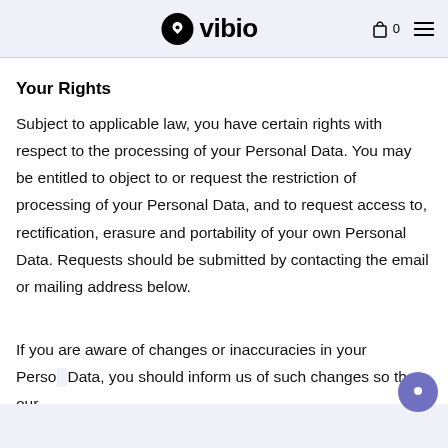vibio  0
Your Rights
Subject to applicable law, you have certain rights with respect to the processing of your Personal Data. You may be entitled to object to or request the restriction of processing of your Personal Data, and to request access to, rectification, erasure and portability of your own Personal Data. Requests should be submitted by contacting the email or mailing address below.
If you are aware of changes or inaccuracies in your Personal Data, you should inform us of such changes so that our